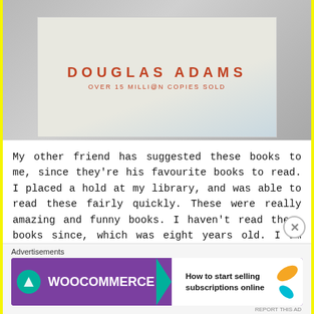[Figure (photo): Photo of a Douglas Adams book cover showing 'DOUGLAS ADAMS' in red spaced letters and 'OVER 15 MILLION COPIES SOLD' below, held against a grey background.]
My other friend has suggested these books to me, since they're his favourite books to read. I placed a hold at my library, and was able to read these fairly quickly. These were really amazing and funny books. I haven't read these books since, which was eight years old. I am really excited because I have found out that my boyfriend hasn't read these books, so we brought them. Although we haven't read it together,
[Figure (screenshot): Advertisements bar at the bottom. WooCommerce ad with purple background, teal arrow, text 'How to start selling subscriptions online', orange and teal leaf decorations.]